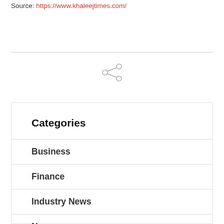Source: https://www.khaleejtimes.com/
[Figure (illustration): Share icon (network/share symbol) centered on page]
Categories
Business
Finance
Industry News
News